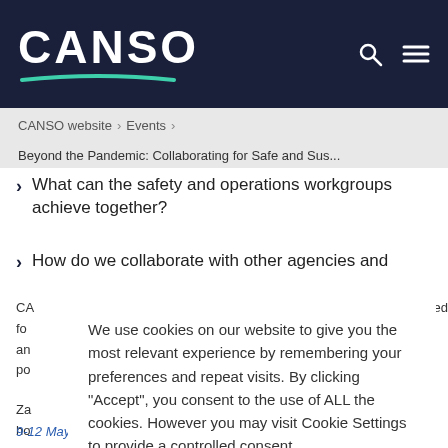CANSO
CANSO website > Events > Beyond the Pandemic: Collaborating for Safe and Sus...
What can the safety and operations workgroups achieve together?
How do we collaborate with other agencies and [partially obscured]
CA[NSO]... fo[r]... ed an[d]... po[ssible]...
Za[mbia]... ho[st]... p me[eting]... n 9-12 May 2022 in Lusaka, Zambia.
We use cookies on our website to give you the most relevant experience by remembering your preferences and repeat visits. By clicking “Accept”, you consent to the use of ALL the cookies. However you may visit Cookie Settings to provide a controlled consent.